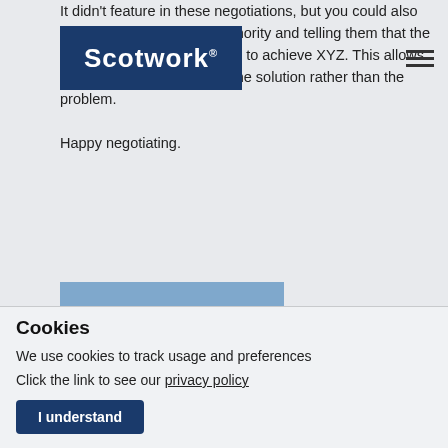Scotwork (logo nav bar)
It didn't feature in these negotiations, but you could also consider using deferred authority and telling them that the CFO has told me that I need to achieve XYZ. This allows you to position yourself as the solution rather than the problem.

Happy negotiating.
[Figure (photo): Blue placeholder profile image with white silhouette of a person's head and shoulders]
Cookies
We use cookies to track usage and preferences
Click the link to see our privacy policy
I understand